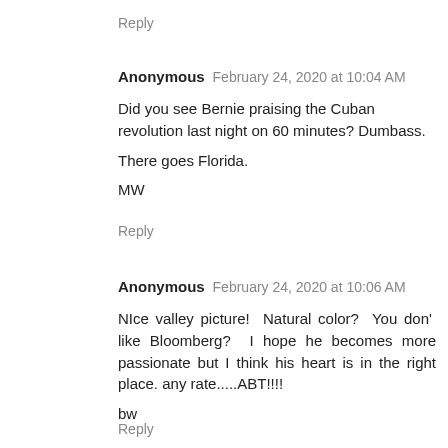Reply
Anonymous  February 24, 2020 at 10:04 AM
Did you see Bernie praising the Cuban revolution last night on 60 minutes? Dumbass.

There goes Florida.

MW
Reply
Anonymous  February 24, 2020 at 10:06 AM
NIce valley picture! Natural color? You don' like Bloomberg? I hope he becomes more passionate but I think his heart is in the right place. any rate.....ABT!!!!

bw
Reply